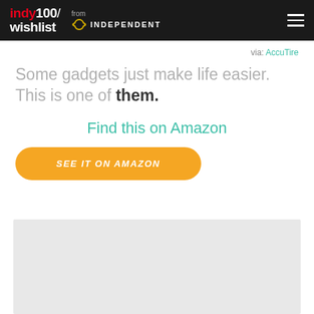indy100/ wishlist from INDEPENDENT
via: AccuTire
Some gadgets just make life easier. This is one of them.
Find this on Amazon
SEE IT ON AMAZON
[Figure (other): Light grey placeholder box below the Amazon button]